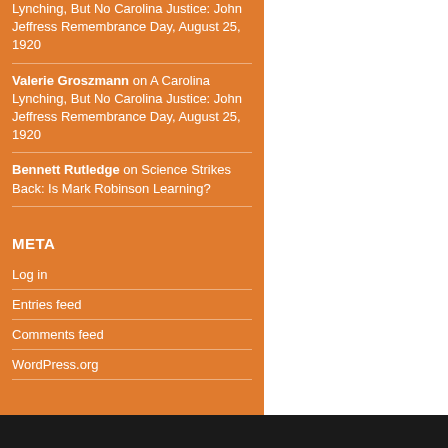Lynching, But No Carolina Justice: John Jeffress Remembrance Day, August 25, 1920
Valerie Groszmann on A Carolina Lynching, But No Carolina Justice: John Jeffress Remembrance Day, August 25, 1920
Bennett Rutledge on Science Strikes Back: Is Mark Robinson Learning?
META
Log in
Entries feed
Comments feed
WordPress.org